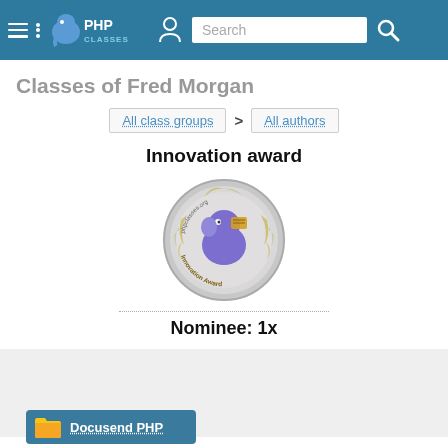PHPClasses navigation bar with search
Classes of Fred Morgan
All class groups > All authors
Innovation award
[Figure (illustration): Innovation award medal badge showing a PHP elephant mascot with laurel wreath and text 'Innovation Award']
Nominee: 1x
[Figure (other): Gray advertisement box]
Docusend PHP